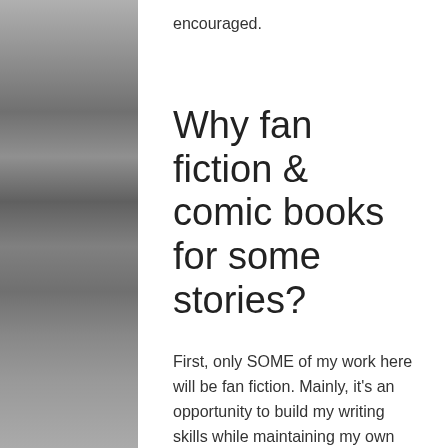encouraged.
Why fan fiction & comic books for some stories?
First, only SOME of my work here will be fan fiction. Mainly, it's an opportunity to build my writing skills while maintaining my own pool